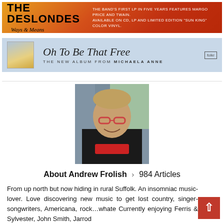[Figure (illustration): The Deslondes 'Ways & Means' album promotional banner with orange/red gradient background. Large bold black text 'THE DESLONDES', italic script 'Ways & Means', white text describing the album.]
[Figure (illustration): Michaela Anne 'Oh To Be That Free' album promotional banner with light blue background. Small album art thumbnail on left, script title text, subtitle 'THE NEW ALBUM FROM MICHAELA ANNE', label logo on right.]
[Figure (photo): Headshot photo of Andrew Frolish, a middle-aged man with short grey-blonde hair and glasses, wearing a black t-shirt, smiling, outdoors.]
About Andrew Frolish > 984 Articles
From up north but now hiding in rural Suffolk. An insomniac music-lover. Love discovering new music to get lost country, singer-songwriters, Americana, rock...whate Currently enjoying Ferris & Sylvester, John Smith, Jarrod